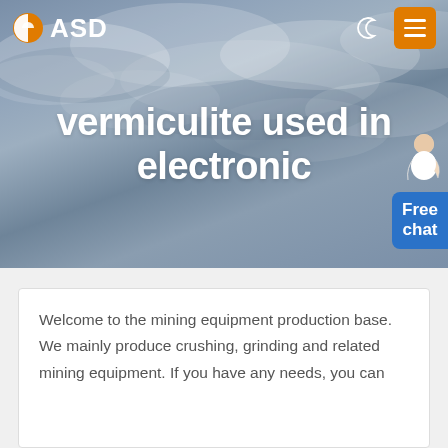[Figure (screenshot): Website header with cloudy sky background]
ASD
vermiculite used in electronic
Welcome to the mining equipment production base. We mainly produce crushing, grinding and related mining equipment. If you have any needs, you can